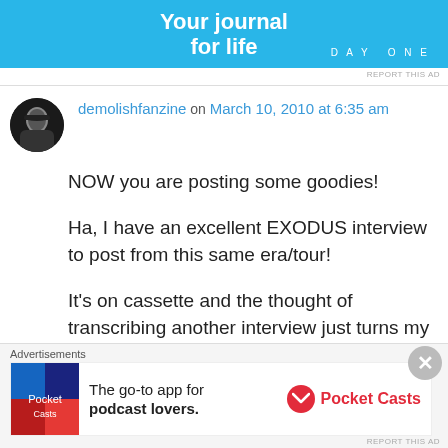[Figure (screenshot): Top advertisement banner for DayOne journal app, light blue background with white text 'Your journal for life' and DayOne logo]
REPORT THIS AD
demolishfanzine on March 10, 2010 at 6:35 am
NOW you are posting some goodies!

Ha, I have an excellent EXODUS interview to post from this same era/tour!

It’s on cassette and the thought of transcribing another interview just turns my stomach, however I WILL get around to it.

Yeah no kiddin’ why does there have to be a “Big Four” anyway? That’s more silly journalistic
[Figure (screenshot): Bottom advertisement for Pocket Casts app: 'The go-to app for podcast lovers.' with Pocket Casts logo]
REPORT THIS AD